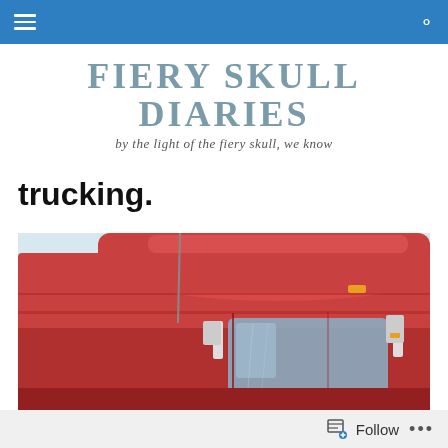Navigation bar with hamburger menu and search icon
FIERY SKULL DIARIES
by the light of the fiery skull, we know
trucking.
[Figure (photo): Close-up photograph of a red semi-truck cab against a light sky background, showing the aerodynamic roof fairing, mirrors, and upper cab details.]
Follow ...